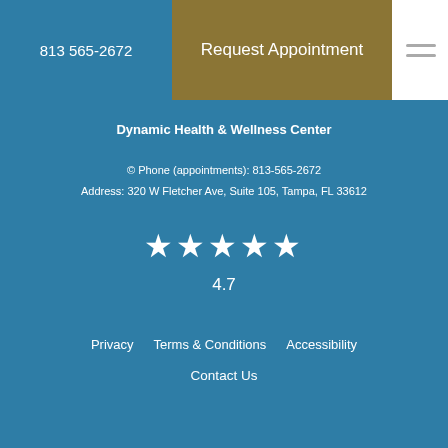813 565-2672
Request Appointment
Dynamic Health & Wellness Center
© Phone (appointments): 813-565-2672
Address: 320 W Fletcher Ave, Suite 105, Tampa, FL 33612
[Figure (other): Five white star rating icons]
4.7
Privacy
Terms & Conditions
Accessibility
Contact Us